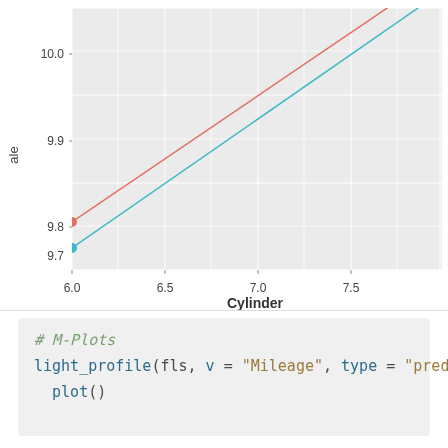[Figure (continuous-plot): Line plot showing two lines (teal/cyan and red/coral) rising from left to right with x-axis 'Cylinder' ranging from 6.0 to beyond 7.5 and y-axis 'ale' ranging from approximately 9.7 to 10.0. Two starting points are marked: a teal dot at approximately (6.0, 9.69) and a red dot at approximately (6.0, 9.75). Both lines trend upward with similar slopes.]
# M-Plots
light_profile(fls, v = "Mileage", type = "predicted")
  plot()